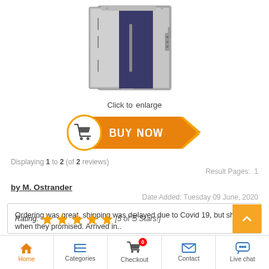[Figure (photo): A large metal safe with doors open, showing interior]
Click to enlarge
[Figure (other): BUY NOW button with shopping cart icon]
Displaying 1 to 2 (of 2 reviews)
Result Pages:  1
by M. Ostrander
Date Added: Tuesday 09 June, 2020
Ordering was great, shipping was delayed due to Covid 19, but shipped when they promised. Arrived in..
Rating: [5 of 5 Stars!]
Home  Categories  Checkout  Contact  Live chat